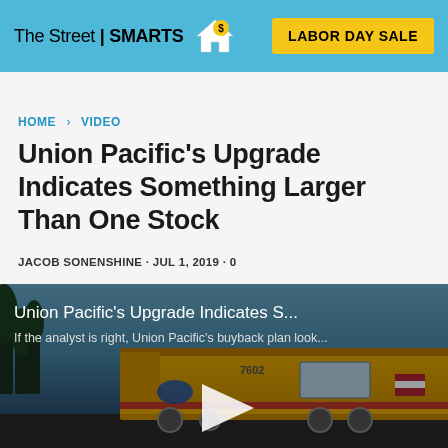The Street | SMARTS — LABOR DAY SALE
HOME > VIDEO
Union Pacific's Upgrade Indicates Something Larger Than One Stock
JACOB SONENSHINE · JUL 1, 2019 · 0
[Figure (screenshot): Video thumbnail showing a yellow Union Pacific locomotive (number 7602) with text overlay: 'Union Pacific's Upgrade Indicates S...' and subtitle 'If the analyst is right, Union Pacific's buyback plan look...' with a play button in the center.]